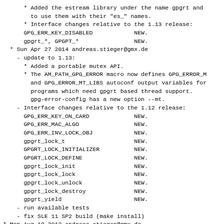* Added the estream library under the name gpgrt and to use them with their "es_" names.
  * Interface changes relative to the 1.13 release:
  GPG_ERR_KEY_DISABLED            NEW.
  gpgrt_*, GPGPT_*                NEW.
* Sun Apr 27 2014 andreas.stieger@gmx.de
  - update to 1.13:
    * Added a portable mutex API.
    * The AM_PATH_GPG_ERROR macro now defines GPG_ERROR_M
      and GPG_ERROR_MT_LIBS autoconf output variables for
      programs which need gpgrt based thread support.
      gpg-error-config has a new option --mt.
  - Interface changes relative to the 1.12 release:
    GPG_ERR_KEY_ON_CARD             NEW.
    GPG_ERR_MAC_ALGO                NEW.
    GPG_ERR_INV_LOCK_OBJ            NEW.
    gpgrt_lock_t                    NEW.
    GPGRT_LOCK_INITIALIZER          NEW.
    GPGRT_LOCK_DEFINE               NEW.
    gpgrt_lock_init                 NEW.
    gpgrt_lock_lock                 NEW.
    gpgrt_lock_unlock               NEW.
    gpgrt_lock_destroy              NEW.
    gpgrt_yield                     NEW.
  - run available tests
  - fix SLE 11 SP2 build (make install)
* Mon Aug 19 2013 andreas.stieger@gmx.de
  - update to 1.12
    * Interface changes relative to the 1.11 release:
    GPG_ERR_NO_CRYPT_CTX            NEW.